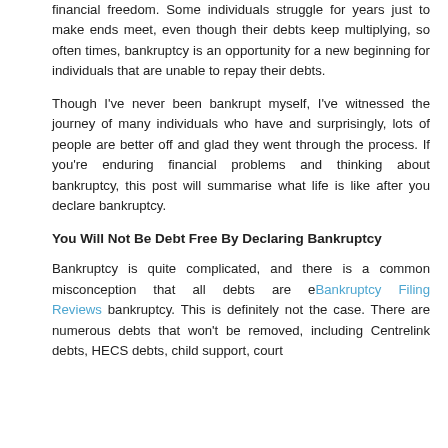financial freedom. Some individuals struggle for years just to make ends meet, even though their debts keep multiplying, so often times, bankruptcy is an opportunity for a new beginning for individuals that are unable to repay their debts.
Though I've never been bankrupt myself, I've witnessed the journey of many individuals who have and surprisingly, lots of people are better off and glad they went through the process. If you're enduring financial problems and thinking about bankruptcy, this post will summarise what life is like after you declare bankruptcy.
You Will Not Be Debt Free By Declaring Bankruptcy
Bankruptcy is quite complicated, and there is a common misconception that all debts are eliminated by filing bankruptcy. This is definitely not the case. There are numerous debts that won't be removed, including Centrelink debts, HECS debts, child support, court